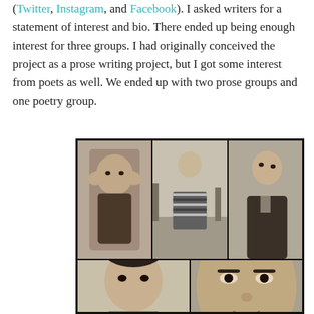(Twitter, Instagram, and Facebook). I asked writers for a statement of interest and bio. There ended up being enough interest for three groups. I had originally conceived the project as a prose writing project, but I got some interest from poets as well. We ended up with two prose groups and one poetry group.
[Figure (photo): A collage of five black-and-white portrait photographs arranged in a grid: top row has three photos (a man holding his head in his hands, a man standing outdoors in a striped sweater, a man in a suit looking sideways), bottom row has two photos (a young man with tousled hair, a close-up of a man's face).]